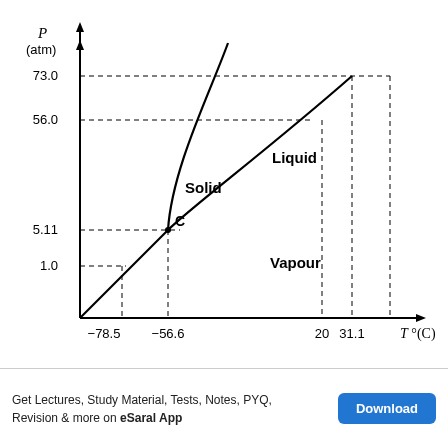[Figure (continuous-plot): Phase diagram of CO2 showing pressure (atm) vs temperature T°(C). Three phases shown: Solid (upper left), Liquid (upper middle-right), Vapour (lower right). Triple point C at (-56.6, 5.11). Key pressure levels: 1.0, 5.11, 56.0, 73.0 atm. Key temperature levels: -78.5, -56.6, 20, 31.1 °C. Dashed lines indicate key values. Solid-liquid boundary is steep, liquid-vapour boundary curves, solid-vapour boundary is diagonal.]
Get Lectures, Study Material, Tests, Notes, PYQ, Revision & more on eSaral App